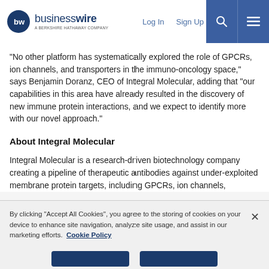businesswire — A Berkshire Hathaway Company | Log In | Sign Up
“No other platform has systematically explored the role of GPCRs, ion channels, and transporters in the immuno-oncology space,” says Benjamin Doranz, CEO of Integral Molecular, adding that “our capabilities in this area have already resulted in the discovery of new immune protein interactions, and we expect to identify more with our novel approach.”
About Integral Molecular
Integral Molecular is a research-driven biotechnology company creating a pipeline of therapeutic antibodies against under-exploited membrane protein targets, including GPCRs, ion channels,
By clicking “Accept All Cookies”, you agree to the storing of cookies on your device to enhance site navigation, analyze site usage, and assist in our marketing efforts. Cookie Policy